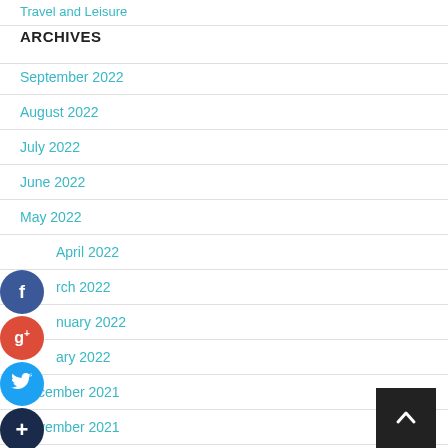Travel and Leisure
ARCHIVES
September 2022
August 2022
July 2022
June 2022
May 2022
April 2022
March 2022
January 2022
January 2022
December 2021
November 2021